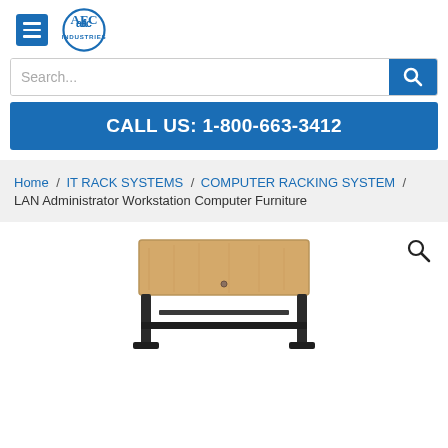[Figure (logo): AFC Industries logo with hamburger menu icon and circular AFC logo with INDUSTRIES text below]
[Figure (screenshot): Search bar with placeholder text 'Search...' and blue search button with magnifying glass icon]
CALL US: 1-800-663-3412
Home / IT RACK SYSTEMS / COMPUTER RACKING SYSTEM / LAN Administrator Workstation Computer Furniture
[Figure (photo): LAN Administrator Workstation Computer Furniture product photo showing a desk with light wood top and black metal rack frame underneath, with a magnify icon in the upper right]